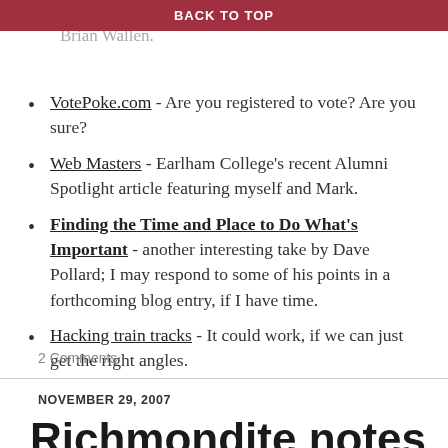slideshow with photos by Jim Hair and music by Brian Wallen.
BACK TO TOP
VotePoke.com - Are you registered to vote? Are you sure?
Web Masters - Earlham College's recent Alumni Spotlight article featuring myself and Mark.
Finding the Time and Place to Do What's Important - another interesting take by Dave Pollard; I may respond to some of his points in a forthcoming blog entry, if I have time.
Hacking train tracks - It could work, if we can just get the right angles.
2 Comments
NOVEMBER 29, 2007
Richmondite notes